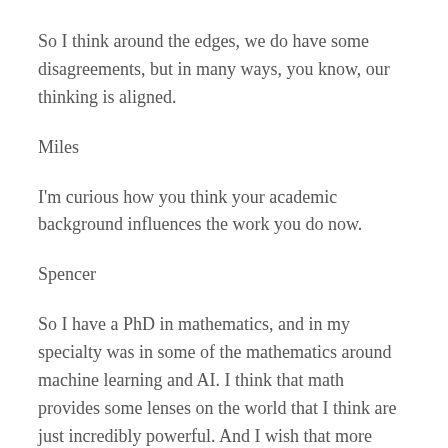So I think around the edges, we do have some disagreements, but in many ways, you know, our thinking is aligned.
Miles
I'm curious how you think your academic background influences the work you do now.
Spencer
So I have a PhD in mathematics, and in my specialty was in some of the mathematics around machine learning and AI. I think that math provides some lenses on the world that I think are just incredibly powerful. And I wish that more people learn them without having to go through the grueling process of doing a PhD. One of the main